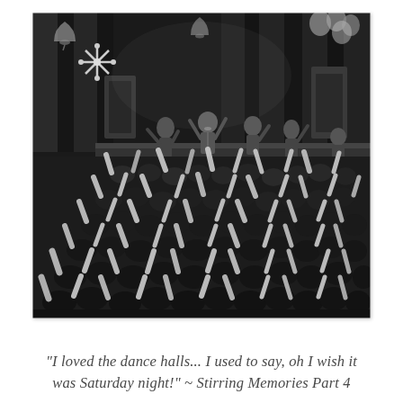[Figure (photo): Black and white photograph of a crowded dance hall scene, likely from the 1960s. A band performs on stage with musicians raising their arms. A large excited crowd fills the floor with hands raised in the air. Decorations including balloons and a snowflake ornament are visible overhead. Curtains hang in the background.]
"I loved the dance halls... I used to say, oh I wish it was Saturday night!" ~ Stirring Memories Part 4